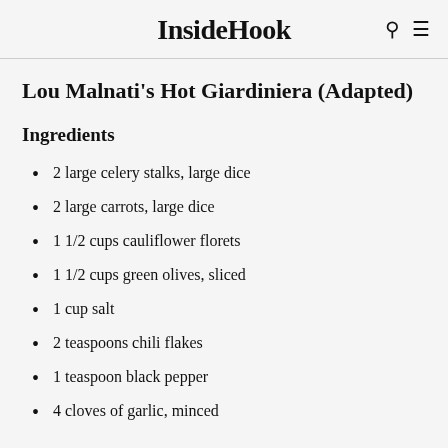InsideHook
Lou Malnati's Hot Giardiniera (Adapted)
Ingredients
2 large celery stalks, large dice
2 large carrots, large dice
1 1/2 cups cauliflower florets
1 1/2 cups green olives, sliced
1 cup salt
2 teaspoons chili flakes
1 teaspoon black pepper
4 cloves of garlic, minced